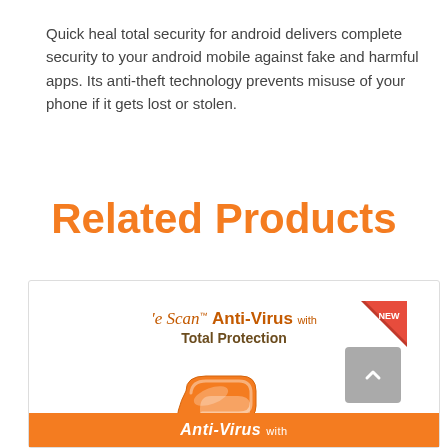Quick heal total security for android delivers complete security to your android mobile against fake and harmful apps. Its anti-theft technology prevents misuse of your phone if it gets lost or stolen.
Related Products
[Figure (other): eScan Anti-Virus with Total Protection product card showing the eScan brand logo, a 3D orange 'e' letter graphic, a NEW badge, and an orange strip at the bottom reading 'Anti-Virus with']